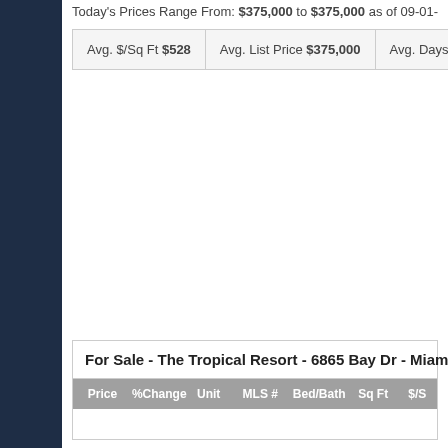Today's Prices Range From: $375,000 to $375,000 as of 09-01-
| Avg. $/Sq Ft $528 | Avg. List Price $375,000 | Avg. Days On M |
| --- | --- | --- |
For Sale - The Tropical Resort - 6865 Bay Dr - Miami B
| Price | %Change | Unit | MLS # | Bed/Bath | Sq Ft | $/S |
| --- | --- | --- | --- | --- | --- | --- |